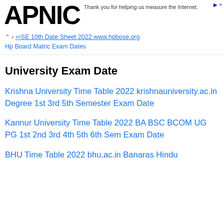[Figure (logo): APNIC logo in bold black text]
Thank you for helping us measure the Internet.
BSE 10th Date Sheet 2022 www.hpbose.org Hp Board Matric Exam Dates
University Exam Date
Krishna University Time Table 2022 krishnauniversity.ac.in Degree 1st 3rd 5th Semester Exam Date
Kannur University Time Table 2022 BA BSC BCOM UG PG 1st 2nd 3rd 4th 5th 6th Sem Exam Date
BHU Time Table 2022 bhu.ac.in Banaras Hindu